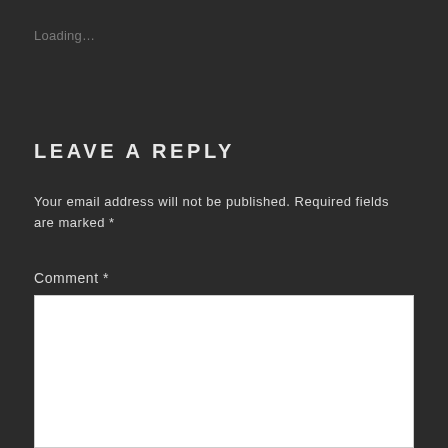Loading…
LEAVE A REPLY
Your email address will not be published. Required fields are marked *
Comment *